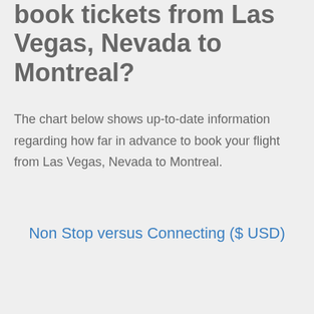book tickets from Las Vegas, Nevada to Montreal?
The chart below shows up-to-date information regarding how far in advance to book your flight from Las Vegas, Nevada to Montreal.
Non Stop versus Connecting ($ USD)